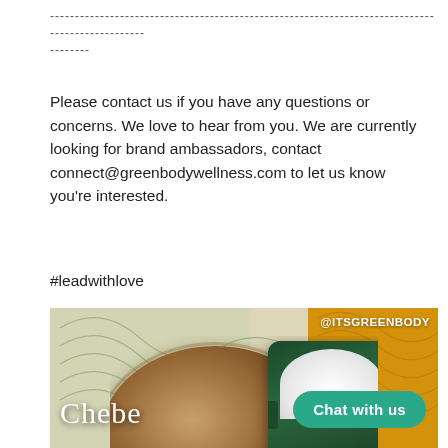-----------------------------------------------------------------------------------------------
--------
Please contact us if you have any questions or concerns. We love to hear from you. We are currently looking for brand ambassadors, contact connect@greenbodywellness.com to let us know you're interested.
#leadwithlove
[Figure (photo): Product photo showing a glass bowl of brown Chebe powder on the left and a green jar of white cream on the right, on a decorative background with green and amber colors. Text overlay reads 'Chebe' in white serif font, '@ITSGREENBODY' in white bold text at top right, and a teal 'Chat with us' button at bottom right.]